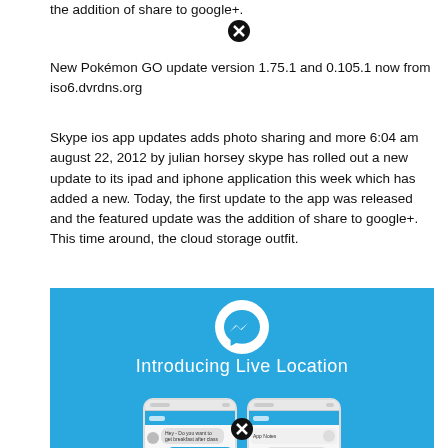the addition of share to google+.
New Pokémon GO update version 1.75.1 and 0.105.1 now from iso6.dvrdns.org
Skype ios app updates adds photo sharing and more 6:04 am august 22, 2012 by julian horsey skype has rolled out a new update to its ipad and iphone application this week which has added a new. Today, the first update to the app was released and the featured update was the addition of share to google+. This time around, the cloud storage outfit.
[Figure (screenshot): Blue promotional banner for Facebook Messenger 'Introducing Live Location' feature, showing two iPhone screenshots demonstrating the live location sharing chat interface.]